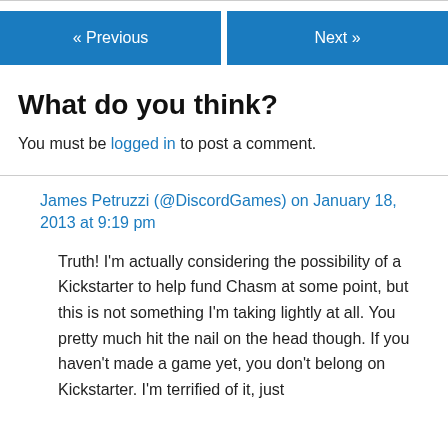« Previous   Next »
What do you think?
You must be logged in to post a comment.
James Petruzzi (@DiscordGames) on January 18, 2013 at 9:19 pm
Truth! I'm actually considering the possibility of a Kickstarter to help fund Chasm at some point, but this is not something I'm taking lightly at all. You pretty much hit the nail on the head though. If you haven't made a game yet, you don't belong on Kickstarter. I'm terrified of it, just